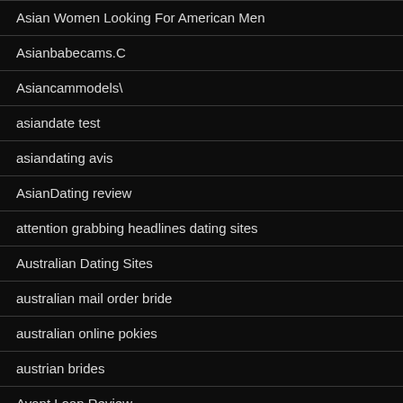Asian Women Looking For American Men
Asianbabecams.C
Asiancammodels\
asiandate test
asiandating avis
AsianDating review
attention grabbing headlines dating sites
Australian Dating Sites
australian mail order bride
australian online pokies
austrian brides
Avant Loan Review